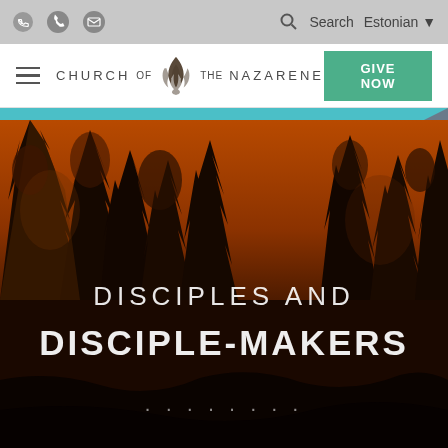Church of the Nazarene website header with phone icon, mail icon, search, Estonian language selector, hamburger menu, logo, and GIVE NOW button
[Figure (screenshot): Hero image of forest trees with orange-brown tones and overlay text reading DISCIPLES AND DISCIPLE-MAKERS]
DISCIPLES AND DISCIPLE-MAKERS